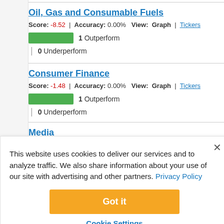Oil, Gas and Consumable Fuels
Score: -8.52 | Accuracy: 0.00% View: Graph | Tickers
1 Outperform
0 Underperform
Consumer Finance
Score: -1.48 | Accuracy: 0.00% View: Graph | Tickers
1 Outperform
0 Underperform
Media
This website uses cookies to deliver our services and to analyze traffic. We also share information about your use of our site with advertising and other partners. Privacy Policy
Got it
Cookie Settings